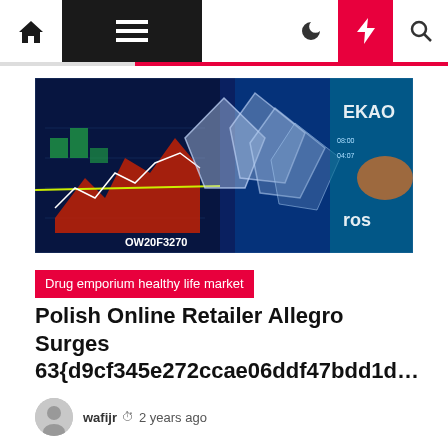Navigation bar with home, menu, moon, bolt, and search icons
[Figure (photo): Stock exchange display board showing financial charts and ticker data with a geometric glass sculpture/logo in the foreground, text 'OW20F3270' and partial text 'EKAO' and 'ros' visible]
Drug emporium healthy life market
Polish Online Retailer Allegro Surges 63{d9cf345e272ccae06ddf47bdd1d…
wafijr  2 years ago